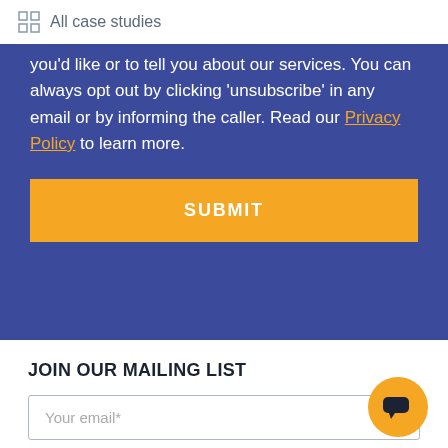All case studies
you'd like or to tell you about our services. You can always opt out by clicking 'unsubscribe' in any email or by informing the caller. Read our Privacy Policy to learn more.
SUBMIT
JOIN OUR MAILING LIST
Your email*